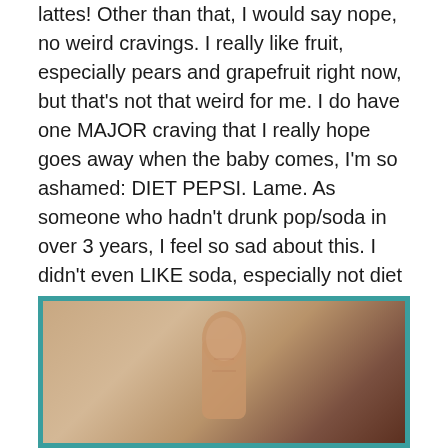lattes! Other than that, I would say nope, no weird cravings. I really like fruit, especially pears and grapefruit right now, but that's not that weird for me. I do have one MAJOR craving that I really hope goes away when the baby comes, I'm so ashamed: DIET PEPSI. Lame. As someone who hadn't drunk pop/soda in over 3 years, I feel so sad about this. I didn't even LIKE soda, especially not diet soda before I got pregnant, and now I could literally drink a gallon of diet Pepsi every day. I DONT! But I could. I have absolutely given in to this craving many times….don't judge me!!!! (: The plan is to drop major lb's after this baby pops out, and all soda will once again be out the window.
[Figure (photo): A photograph with a teal/turquoise border showing what appears to be a close-up of a hand or finger against a light background with warm tones.]